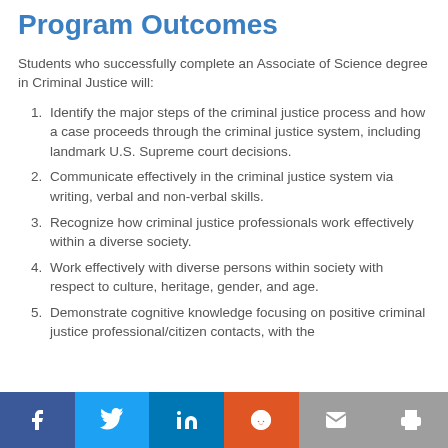Program Outcomes
Students who successfully complete an Associate of Science degree in Criminal Justice will:
Identify the major steps of the criminal justice process and how a case proceeds through the criminal justice system, including landmark U.S. Supreme court decisions.
Communicate effectively in the criminal justice system via writing, verbal and non-verbal skills.
Recognize how criminal justice professionals work effectively within a diverse society.
Work effectively with diverse persons within society with respect to culture, heritage, gender, and age.
Demonstrate cognitive knowledge focusing on positive criminal justice professional/citizen contacts, with the